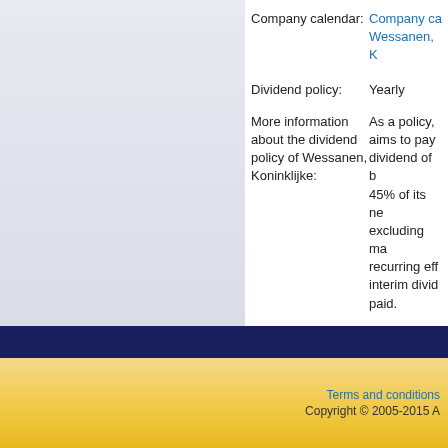Company calendar: Company calendar Wessanen, K
Dividend policy: Yearly
More information about the dividend policy of Wessanen, Koninklijke: As a policy, aims to pay dividend of b 45% of its ne excluding ma recurring eff interim divid paid.
Yearly Report File
Year
No File Found
Terms and conditions Copyright © 2005-2015 A